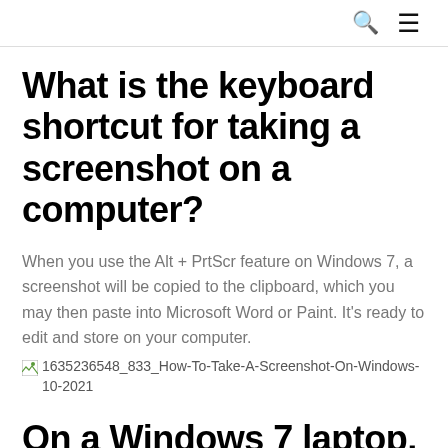🔍 ≡
What is the keyboard shortcut for taking a screenshot on a computer?
When you use the Alt + PrtScr feature on Windows 7, a screenshot will be copied to the clipboard, which you may then paste into Microsoft Word or Paint. It's ready to edit and store on your computer.
[Figure (other): Broken image placeholder with filename: 1635236548_833_How-To-Take-A-Screenshot-On-Windows-10-2021]
On a Windows 7 laptop, how do you take a